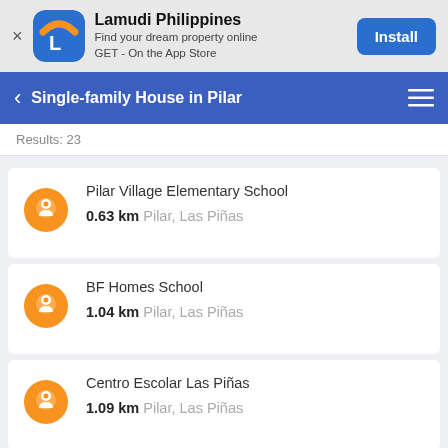[Figure (screenshot): Lamudi Philippines app banner with logo icon, app name, tagline 'Find your dream property online GET - On the App Store', and blue Install button]
Single-family House in Pilar
Results: 23
Pilar Village Elementary School
0.63 km Pilar, Las Piñas
BF Homes School
1.04 km Pilar, Las Piñas
Centro Escolar Las Piñas
1.09 km Pilar, Las Piñas